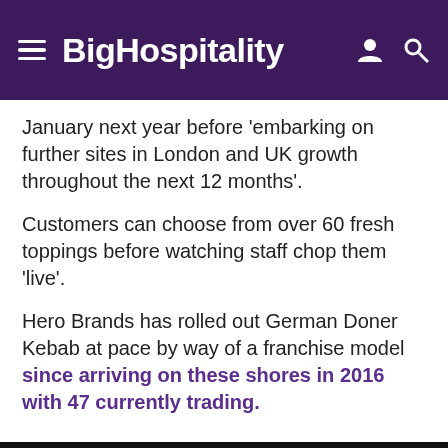BigHospitality
January next year before ‘embarking on further sites in London and UK growth throughout the next 12 months’.
Customers can choose from over 60 fresh toppings before watching staff chop them ‘live’.
Hero Brands has rolled out German Doner Kebab at pace by way of a franchise model since arriving on these shores in 2016 with 47 currently trading.
This website uses cookies. By continuing to browse our website, you are agreeing to our use of cookies. You can learn more about cookies by visiting our privacy & cookies policy page.